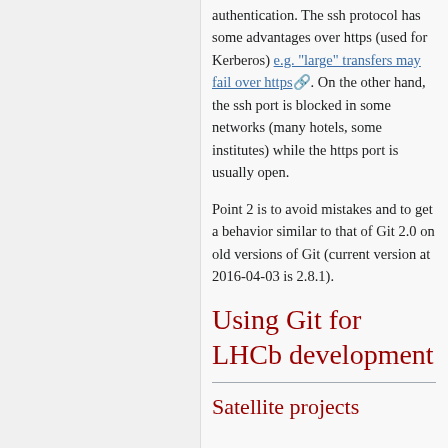authentication. The ssh protocol has some advantages over https (used for Kerberos) e.g. "large" transfers may fail over https. On the other hand, the ssh port is blocked in some networks (many hotels, some institutes) while the https port is usually open.
Point 2 is to avoid mistakes and to get a behavior similar to that of Git 2.0 on old versions of Git (current version at 2016-04-03 is 2.8.1).
Using Git for LHCb development
Satellite projects